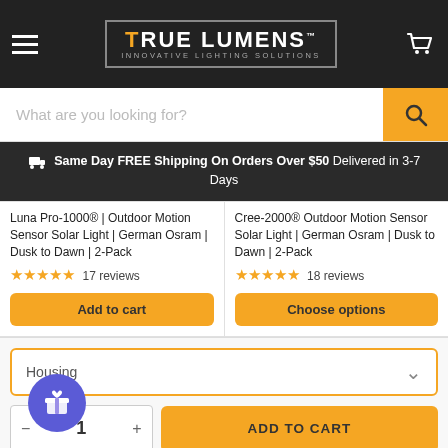[Figure (logo): True Lumens logo with 'Innovative Lighting Solutions' tagline on dark header bar with hamburger menu and cart icon]
[Figure (screenshot): Search bar with placeholder 'What are you looking for?' and orange search button]
Same Day FREE Shipping On Orders Over $50 Delivered in 3-7 Days
Luna Pro-1000® | Outdoor Motion Sensor Solar Light | German Osram | Dusk to Dawn | 2-Pack
★★★★★ 17 reviews
Add to cart
Cree-2000® Outdoor Motion Sensor Solar Light | German Osram | Dusk to Dawn | 2-Pack
★★★★★ 18 reviews
Choose options
Housing
1
ADD TO CART